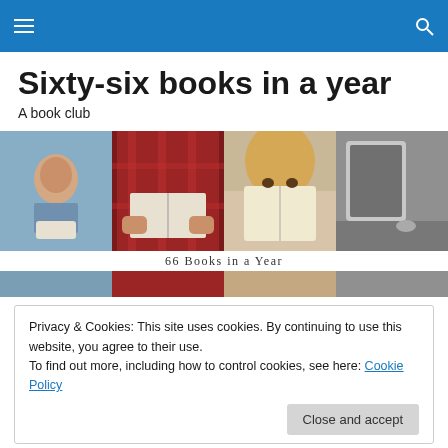Navigation bar with hamburger menu and search icon
Sixty-six books in a year
A book club
[Figure (photo): Four-panel image strip showing people reading books: man reading outdoors, hands holding open book with red plaid shirt, woman holding book up to face, grayscale desk/device scene. Caption reads: 66 Books in a Year]
66 Books in a Year
Privacy & Cookies: This site uses cookies. By continuing to use this website, you agree to their use.
To find out more, including how to control cookies, see here: Cookie Policy
I have thought of God as my lucky charm a few times in